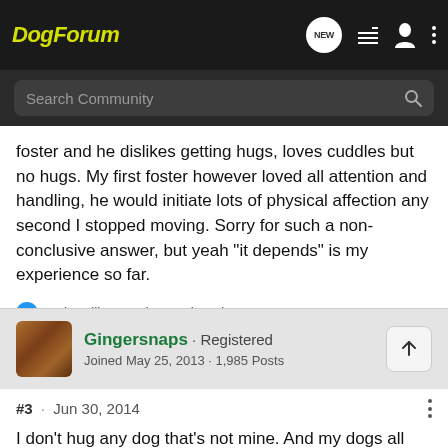DogForum
Search Community
foster and he dislikes getting hugs, loves cuddles but no hugs. My first foster however loved all attention and handling, he would initiate lots of physical affection any second I stopped moving. Sorry for such a non-conclusive answer, but yeah "it depends" is my experience so far.
Rain, AllieD, JudyG and 4 others
Gingersnaps · Registered
Joined May 25, 2013 · 1,985 Posts
#3 · Jun 30, 2014
I don't hug any dog that's not mine. And my dogs all prefer to be